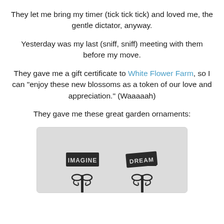They let me bring my timer (tick tick tick) and loved me, the gentle dictator, anyway.
Yesterday was my last (sniff, sniff) meeting with them before my move.
They gave me a gift certificate to White Flower Farm, so I can "enjoy these new blossoms as a token of our love and appreciation." (Waaaaah)
They gave me these great garden ornaments:
[Figure (photo): Two decorative metal garden stake ornaments with the words IMAGINE and DREAM in ornate lettering on dark wrought-iron style stakes with scrollwork bases.]